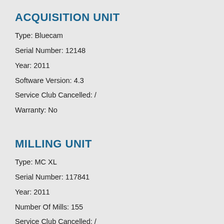ACQUISITION UNIT
Type: Bluecam
Serial Number: 12148
Year: 2011
Software Version: 4.3
Service Club Cancelled: /
Warranty: No
MILLING UNIT
Type: MC XL
Serial Number: 117841
Year: 2011
Number Of Mills: 155
Service Club Cancelled: /
Warranty: No